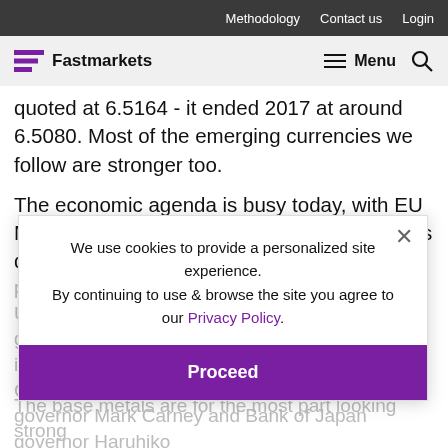Methodology   Contact us   Login
Fastmarkets   Menu
quoted at 6.5164 - it ended 2017 at around 6.5080. Most of the emerging currencies we follow are stronger too.
The economic agenda is busy today, with EU M3 money supply and private loans, UK gross domestic product (GDP) and index of services as well as US data that includes including GDP, durable goods orders, wholesale trade and petroleum inventories. In addition there is data out on China's leading indicators and Bank of England governor Mark Carney and Bank of Japan governor Haruhiko Kuroda are both speaking.
We use cookies to provide a personalized site experience.
By continuing to use & browse the site you agree to our Privacy Policy.
Proceed
The base metals are for the most part looking strong